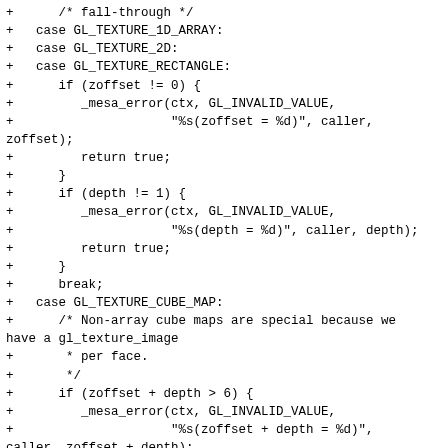Code diff showing GL texture handling in C, including cases for GL_TEXTURE_1D_ARRAY, GL_TEXTURE_2D, GL_TEXTURE_RECTANGLE, and GL_TEXTURE_CUBE_MAP with validation logic for zoffset, depth, and face range checking.